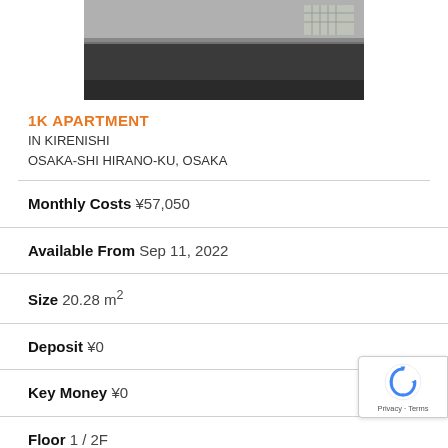[Figure (photo): Partial exterior photo of the apartment building, showing a dark stone or concrete ledge/step area near ground level]
1K APARTMENT
IN KIRENISHI
OSAKA-SHI HIRANO-KU, OSAKA
Monthly Costs ¥57,050
Available From Sep 11, 2022
Size 20.28 m²
Deposit ¥0
Key Money ¥0
Floor 1 / 2F
Year Built 2008